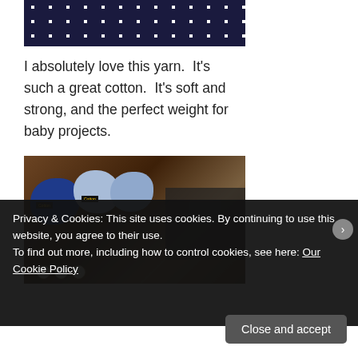[Figure (photo): Partial view of a dark navy blue fabric with white polka dots pattern, cropped at the top of the page]
I absolutely love this yarn. It's such a great cotton. It's soft and strong, and the perfect weight for baby projects.
[Figure (photo): Photo of several skeins of yarn (blue and light blue shades) labeled 'Cotton' sitting on top of a vintage Singer sewing machine on a wooden surface, with wooden bobbins visible at the bottom]
Privacy & Cookies: This site uses cookies. By continuing to use this website, you agree to their use.
To find out more, including how to control cookies, see here: Our Cookie Policy
Close and accept